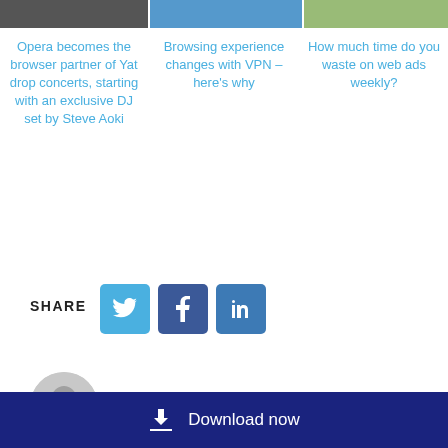[Figure (photo): Three article thumbnail images at the top]
Opera becomes the browser partner of Yat drop concerts, starting with an exclusive DJ set by Steve Aoki
Browsing experience changes with VPN – here's why
How much time do you waste on web ads weekly?
SHARE
[Figure (logo): Twitter share button]
[Figure (logo): Facebook share button]
[Figure (logo): LinkedIn share button]
[Figure (illustration): User avatar circle placeholder]
Download now